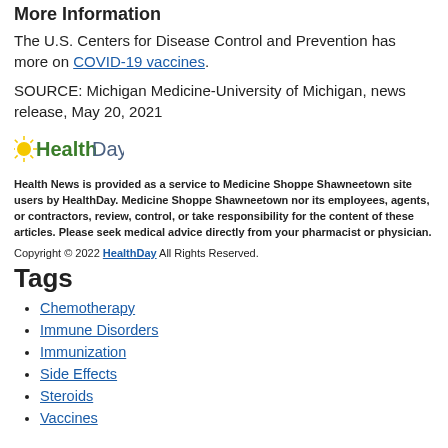More Information
The U.S. Centers for Disease Control and Prevention has more on COVID-19 vaccines.
SOURCE: Michigan Medicine-University of Michigan, news release, May 20, 2021
[Figure (logo): HealthDay logo with green and yellow sunburst design]
Health News is provided as a service to Medicine Shoppe Shawneetown site users by HealthDay. Medicine Shoppe Shawneetown nor its employees, agents, or contractors, review, control, or take responsibility for the content of these articles. Please seek medical advice directly from your pharmacist or physician.
Copyright © 2022 HealthDay All Rights Reserved.
Tags
Chemotherapy
Immune Disorders
Immunization
Side Effects
Steroids
Vaccines